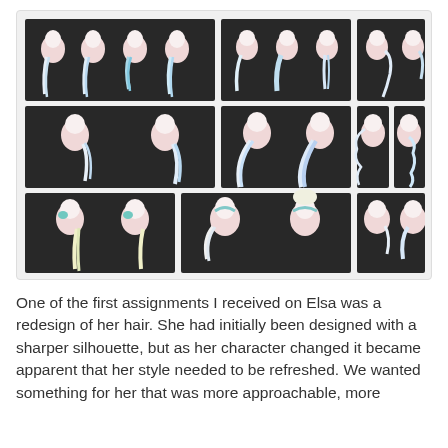[Figure (illustration): A grid of concept art illustrations showing various hairstyle designs for the character Elsa from Frozen. The grid is 3x3 panels on a dark background, each panel showing front and side profile views of Elsa with different hair styles including braids, curls, loose waves, and updos. The character has pale skin and white/blonde hair rendered in a stylized animated art style.]
One of the first assignments I received on Elsa was a redesign of her hair. She had initially been designed with a sharper silhouette, but as her character changed it became apparent that her style needed to be refreshed. We wanted something for her that was more approachable, more